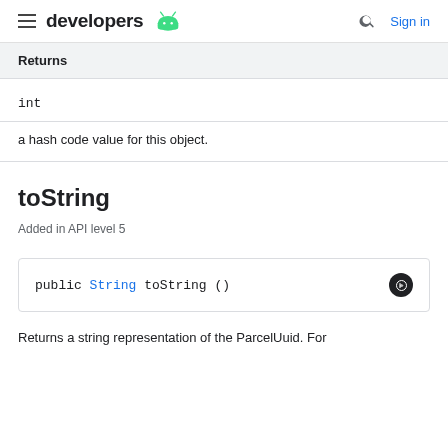developers (android logo) Sign in
| Returns |
| --- |
| int |
| a hash code value for this object. |
toString
Added in API level 5
public String toString ()
Returns a string representation of the ParcelUuid. For